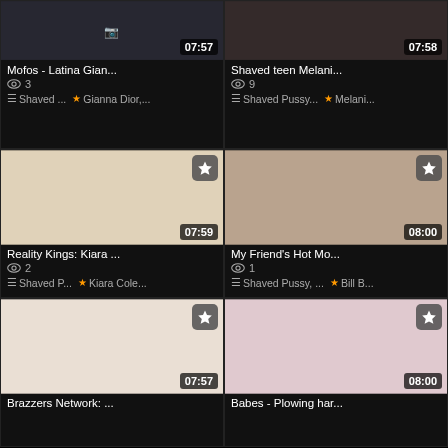[Figure (screenshot): Video thumbnail grid showing 6 video cards in 2 columns, 3 rows. Each card has a thumbnail image, duration badge, title, view count, category and model tags.]
Mofos - Latina Gian...
3
Shaved ...  Gianna Dior,...
Shaved teen Melani...
9
Shaved Pussy...  Melani...
Reality Kings: Kiara ...
2
Shaved P...  Kiara Cole...
My Friend's Hot Mo...
1
Shaved Pussy, ...  Bill B...
Brazzers Network: ...
Babes - Plowing har...